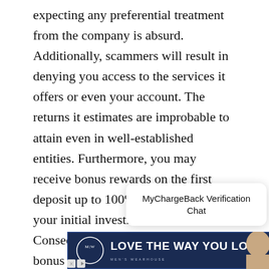expecting any preferential treatment from the company is absurd. Additionally, scammers will result in denying you access to the services it offers or even your account. The returns it estimates are improbable to attain even in well-established entities. Furthermore, you may receive bonus rewards on the first deposit up to 100% or more to match your initial investment amount. Consequently, you cannot access the bonus even after meeting the tasks ahead. Scammers will make multiple attempts to persuade you into making deposits.
[Figure (screenshot): MyChargeBack Verification Chat popup with close button, overlaid on page]
[Figure (illustration): Men's Wearhouse advertisement banner: dark navy background with logo circle, bold white text 'LOVE THE WAY YOU LOOK', 'MEN'S WEARHOUSE' subtitle, and a woman's photo on the right]